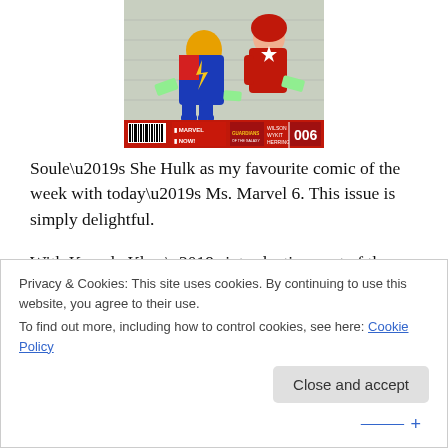[Figure (photo): Comic book cover of Ms. Marvel issue 6, Marvel NOW!, featuring characters in superhero costumes. Bottom bar shows barcode, Marvel NOW! logo, Guardians of the Galaxy tie-in, issue number 006, and creators Wilson, Wyatt, Herring.]
Soule’s She Hulk as my favourite comic of the week with today’s Ms. Marvel 6. This issue is simply delightful.
With Kamala Khan’s introductions out of the way, the new Ms. Marvel series has picked up the pace in the last few issues. The bulk of this issue is a superhero adventure
Privacy & Cookies: This site uses cookies. By continuing to use this website, you agree to their use.
To find out more, including how to control cookies, see here: Cookie Policy
Close and accept